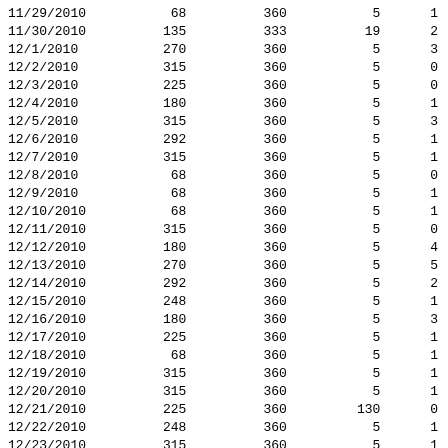| 11/29/2010 | 68 | 360 | 5 | 1 |
| 11/30/2010 | 135 | 333 | 19 | 2 |
| 12/1/2010 | 270 | 360 | 5 | 3 |
| 12/2/2010 | 315 | 360 | 5 | 0 |
| 12/3/2010 | 225 | 360 | 5 | 0 |
| 12/4/2010 | 180 | 360 | 5 | 1 |
| 12/5/2010 | 315 | 360 | 5 | 3 |
| 12/6/2010 | 292 | 360 | 5 | 1 |
| 12/7/2010 | 315 | 360 | 5 | 1 |
| 12/8/2010 | 68 | 360 | 5 | 0 |
| 12/9/2010 | 68 | 360 | 5 | 1 |
| 12/10/2010 | 68 | 360 | 5 | 1 |
| 12/11/2010 | 315 | 360 | 5 | 0 |
| 12/12/2010 | 180 | 360 | 5 | 4 |
| 12/13/2010 | 270 | 360 | 5 | 5 |
| 12/14/2010 | 292 | 360 | 5 | 2 |
| 12/15/2010 | 248 | 360 | 5 | 1 |
| 12/16/2010 | 180 | 360 | 5 | 3 |
| 12/17/2010 | 225 | 360 | 5 | 1 |
| 12/18/2010 | 68 | 360 | 5 | 1 |
| 12/19/2010 | 315 | 360 | 5 | 1 |
| 12/20/2010 | 315 | 360 | 5 | 1 |
| 12/21/2010 | 225 | 360 | 130 | 0 |
| 12/22/2010 | 248 | 360 | 5 | 1 |
| 12/23/2010 | 315 | 360 | 5 | 1 |
| 12/24/2010 | 315 | 360 | 5 | 1 |
| 12/25/2010 | 180 | 360 | 5 | 0 |
| 12/26/2010 | 315 | 360 | 5 | 2 |
| 12/27/2010 | 270 | 360 | 5 | 2 |
| 12/28/2010 | 248 | 360 | 5 | 1 |